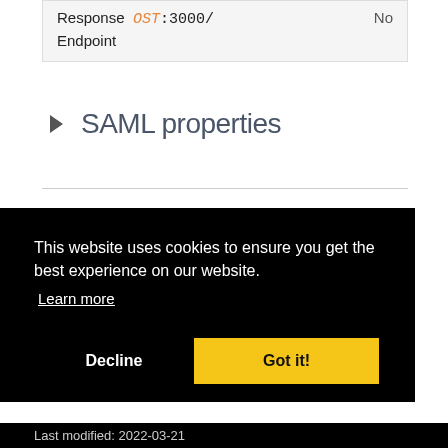| Response | No |
| --- | --- |
| OST:3000/ | No |
| Endpoint |  |
▶ SAML properties
This website uses cookies to ensure you get the best experience on our website.
Learn more
Decline   Got it!
Last modified: 2022-03-21